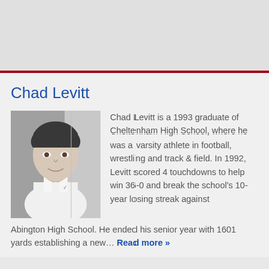Chad Levitt
[Figure (photo): Black and white photo of Chad Levitt, a young man in a white tank top]
Chad Levitt is a 1993 graduate of Cheltenham High School, where he was a varsity athlete in football, wrestling and track & field. In 1992, Levitt scored 4 touchdowns to help win 36-0 and break the school's 10-year losing streak against Abington High School. He ended his senior year with 1601 yards establishing a new… Read more »